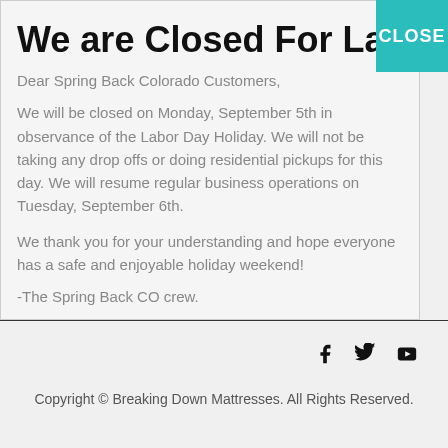We are Closed For Labor D
Dear Spring Back Colorado Customers,
We will be closed on Monday, September 5th in observance of the Labor Day Holiday.  We will not be taking any drop offs or doing residential pickups for this day.  We will resume regular business operations on Tuesday, September 6th.
We thank you for your understanding and hope everyone has a safe and enjoyable holiday weekend!
-The Spring Back CO crew.
Copyright © Breaking Down Mattresses. All Rights Reserved.